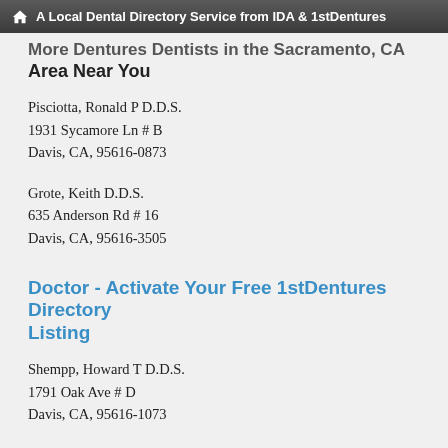A Local Dental Directory Service from IDA & 1stDentures
More Dentures Dentists in the Sacramento, CA Area Near You
Pisciotta, Ronald P D.D.S.
1931 Sycamore Ln # B
Davis, CA, 95616-0873
Grote, Keith D.D.S.
635 Anderson Rd # 16
Davis, CA, 95616-3505
Doctor - Activate Your Free 1stDentures Directory Listing
Shempp, Howard T D.D.S.
1791 Oak Ave # D
Davis, CA, 95616-1073
Richard C. Kennedy Jr., D.D.S.
1791 Oak Ave Ste A
Davis, CA, 95616-1073
(888) 858-7972